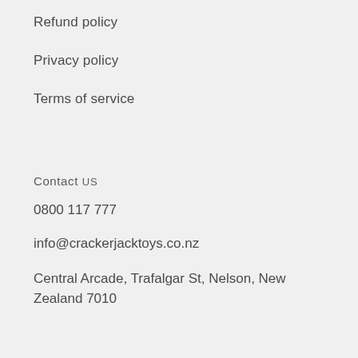Refund policy
Privacy policy
Terms of service
Contact US
0800 117 777
info@crackerjacktoys.co.nz
Central Arcade, Trafalgar St, Nelson, New Zealand 7010
Newsletter